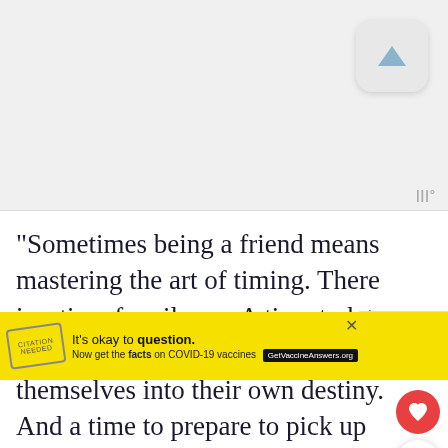[Figure (screenshot): Gray placeholder image area with an app icon (rounded square with up-arrow) in the top right and a tally/counter icon in the bottom right]
“Sometimes being a friend means mastering the art of timing. There is a time for silence. A time to let go and allow people to hurl themselves into their own destiny. And a time to prepare to pick up the pieces when it’s all over.” — Gloria Nay
[Figure (screenshot): Floating action buttons: heart/like button (red circle) and share button (white circle with share icon)]
“F… we and lik…
[Figure (screenshot): Advertisement banner with yellow background: stamp image, text 'It’s okay to question. Now get the facts on COVID-19 vaccines GetVaccineAnswers.org', close X button, and right side icons]